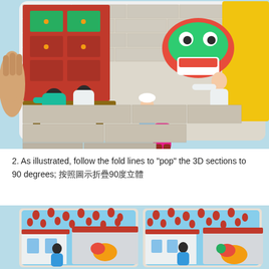[Figure (photo): Top photo showing a hand holding a pop-up book page with illustrated Chinese New Year scene: children watching a lion dance performance, red cabinet with green drawers on the left, brick wall background, characters in traditional clothing.]
2. As illustrated, follow the fold lines to "pop" the 3D sections to 90 degrees; 按照圖示折疊90度立體
[Figure (photo): Bottom photo showing two views of a 3D pop-up book depicting a Chinese New Year street scene with lanterns, traditional buildings, and illustrated characters including a lion dance figure.]